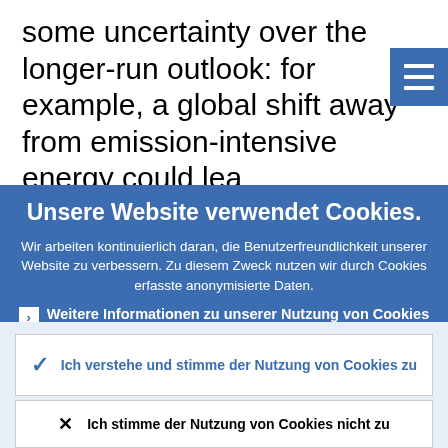some uncertainty over the longer-run outlook: for example, a global shift away from emission-intensive energy could lea
Unsere Website verwendet Cookies.
Wir arbeiten kontinuierlich daran, die Benutzerfreundlichkeit unserer Website zu verbessern. Zu diesem Zweck nutzen wir durch Cookies erfasste anonymisierte Daten.
Weitere Informationen zu unserer Nutzung von Cookies
Ich verstehe und stimme der Nutzung von Cookies zu
Ich stimme der Nutzung von Cookies nicht zu